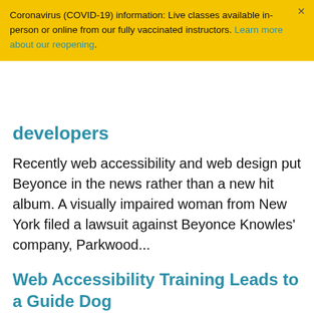Coronavirus (COVID-19) information: Live classes available in-person or online from our fully vaccinated instructors. Learn more about our reopening.
developers
Recently web accessibility and web design put Beyonce in the news rather than a new hit album. A visually impaired woman from New York filed a lawsuit against Beyonce Knowles' company, Parkwood...
Web Accessibility Training Leads to a Guide Dog
Lorem ipsum...